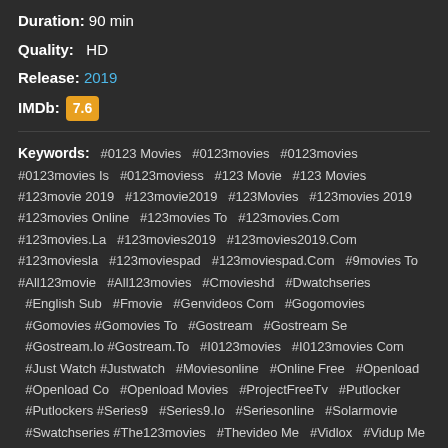Duration: 90 min
Quality: HD
Release: 2019
IMDb: 7.6
Keywords: #0123 Movies  #0123movies  #0123movies #0123movies Is  #0123moviess  #123 Movie  #123 Movies #123movie 2019  #123movie2019  #123Movies  #123movies 2019 #123movies Online  #123movies To  #123movies.Com #123movies.La  #123movies2019  #123movies2019.Com #123moviesla  #123moviespad  #123moviespad.Com  #9movies To #All123movie  #All123movies  #Cmovieshd  #Dwatchseries  #English Sub  #Fmovie  #Genvideos Com  #Gogomovies  #Gomovies #Gomovies To  #Gostream  #Gostream Se  #Gostream.Io #Gostream.To  #I0123movies  #I0123movies Com  #Just Watch #Justwatch  #Moviesonline  #Online Free  #Openload  #Openload Co  #Openload Movies  #ProjectFreeTv  #Putlocker  #Putlockers #Series9  #Series9.Io  #Seriesonline  #Solarmovie  #Swatchseries #The123movies  #Thevideo Me  #Vidlox  #Vidup Me  #View47 Com #Vumoo  #Vumoo.To  #Watch Movies Online  #Watch Movies Online Free  #Watch Series  #Watch Series 123  #Watch Series Co  #Watch Series Free  #Watch Series Online  #Watch Series Online For Free #Watch Series Online Free  #Watch Series Stream #Watch0123movies  #Watch32 Com  #Watchfree To  #Watchseries #Watchseries Online  #Yes Movies  #Yesmovie  #Yesmovies